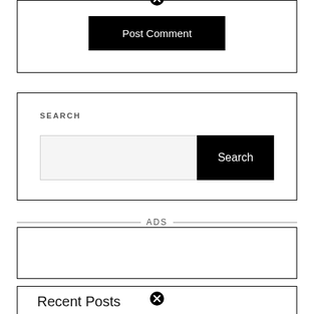[Figure (screenshot): A bordered box with a close (X) icon at the top center and a black 'Post Comment' button inside]
SEARCH
[Figure (screenshot): Search widget with a text input field and a black 'Search' button]
ADS
[Figure (screenshot): Empty ads box with border]
Recent Posts
[Figure (screenshot): Recent Posts widget box with close icon]